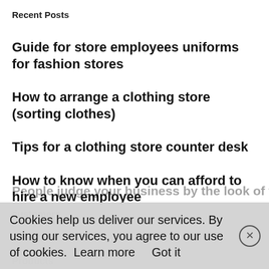Recent Posts
Guide for store employees uniforms for fashion stores
How to arrange a clothing store (sorting clothes)
Tips for a clothing store counter desk
How to know when you can afford to hire a new employee
People judge your business by the look of your customers
Cookies help us deliver our services. By using our services, you agree to our use of cookies.  Learn more     Got it